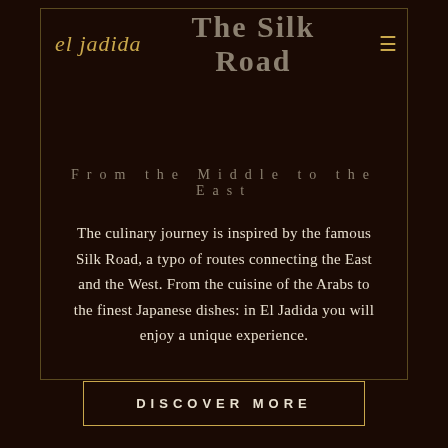el jadida  The Silk Road
From the Middle to the East
The culinary journey is inspired by the famous Silk Road, a typo of routes connecting the East and the West. From the cuisine of the Arabs to the finest Japanese dishes: in El Jadida you will enjoy a unique experience.
DISCOVER MORE